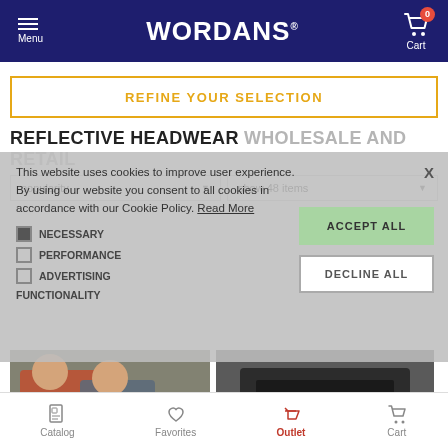Menu | WORDANS | Cart (0)
REFINE YOUR SELECTION
REFLECTIVE HEADWEAR WHOLESALE AND RETAIL
popularity | show 48 items
This website uses cookies to improve user experience. By using our website you consent to all cookies in accordance with our Cookie Policy. Read More
NECESSARY
PERFORMANCE
ADVERTISING
FUNCTIONALITY
ACCEPT ALL
DECLINE ALL
[Figure (photo): Two men in workwear overalls]
[Figure (photo): Dark work pants/trousers product]
Catalog | Favorites | Outlet | Cart